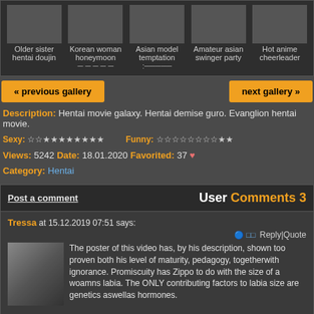[Figure (screenshot): Thumbnail gallery row showing: Older sister hentai doujin, Korean woman honeymoon, Asian model temptation, Amateur asian swinger party, Hot anime cheerleader]
« previous gallery
next gallery »
Description: Hentai movie galaxy. Hentai demise guro. Evanglion hentai movie.
Sexy: ☆☆★★★★★★★★  Funny: ☆☆☆☆☆☆☆☆★★
Views: 5242  Date: 18.01.2020  Favorited: 37 ♥
Category: Hentai
Post a comment   User Comments 3
Tressa at 15.12.2019 07:51 says:
The poster of this video has, by his description, shown too proven both his level of maturity, pedagogy, togetherwith ignorance. Promiscuity has Zippo to do with the size of a woamns labia. The ONLY contributing factors to labia size are genetics aswellas hormones.
Kirby at 16.10.2019 13:29 says:
yes toagreaterextent delight